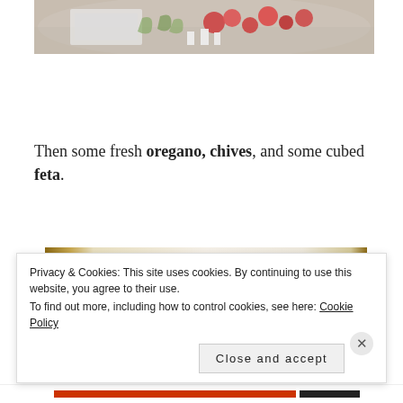[Figure (photo): Top portion of a metal mixing bowl containing chopped vegetables including tomatoes, onions, and green olives]
Then some fresh oregano, chives, and some cubed feta.
[Figure (photo): Krinos brand feta cheese package showing '100% goat's milk / lait de chèvre' label on white container]
Privacy & Cookies: This site uses cookies. By continuing to use this website, you agree to their use.
To find out more, including how to control cookies, see here: Cookie Policy
Close and accept